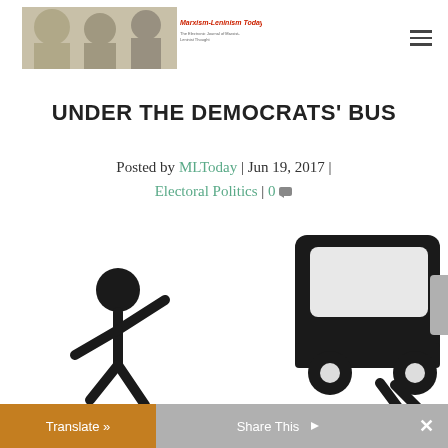Marxism-Leninism Today — The Electronic Journal of Marxist-Leninist Thought
UNDER THE DEMOCRATS' BUS
Posted by MLToday | Jun 19, 2017 | Electoral Politics | 0
[Figure (illustration): Stick figure person being run over by a large black bus, on white background]
Translate » | Share This | ×